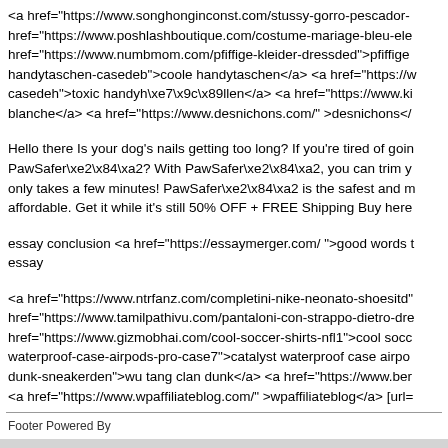<a href="https://www.songhonginconst.com/stussy-gorro-pescador-href="https://www.poshlashboutique.com/costume-mariage-bleu-ele href="https://www.numbmom.com/pfiffige-kleider-dressded">pfiffige handytaschen-casedeb">coole handytaschen</a> <a href="https://w casedeh">toxic handyh\xe7\x9c\x89llen</a> <a href="https://www.ki blanche</a> <a href="https://www.desnichons.com/" >desnichons</
Hello there Is your dog's nails getting too long? If you're tired of goin PawSafer\xe2\x84\xa2? With PawSafer\xe2\x84\xa2, you can trim y only takes a few minutes! PawSafer\xe2\x84\xa2 is the safest and m affordable. Get it while it's still 50% OFF + FREE Shipping Buy here
essay conclusion <a href="https://essaymerger.com/ ">good words t essay
<a href="https://www.ntrfanz.com/completini-nike-neonato-shoesitd" href="https://www.tamilpathivu.com/pantaloni-con-strappo-dietro-dre href="https://www.gizmobhai.com/cool-soccer-shirts-nfl1">cool socc waterproof-case-airpods-pro-case7">catalyst waterproof case airpo dunk-sneakerden">wu tang clan dunk</a> <a href="https://www.ber <a href="https://www.wpaffiliateblog.com/" >wpaffiliateblog</a> [url=
Footer Powered By